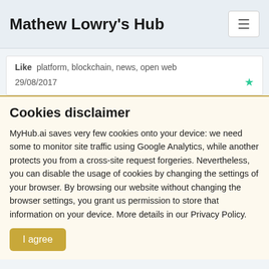Mathew Lowry's Hub
Like  platform, blockchain, news, open web
29/08/2017
Cookies disclaimer
MyHub.ai saves very few cookies onto your device: we need some to monitor site traffic using Google Analytics, while another protects you from a cross-site request forgeries. Nevertheless, you can disable the usage of cookies by changing the settings of your browser. By browsing our website without changing the browser settings, you grant us permission to store that information on your device. More details in our Privacy Policy.
I agree